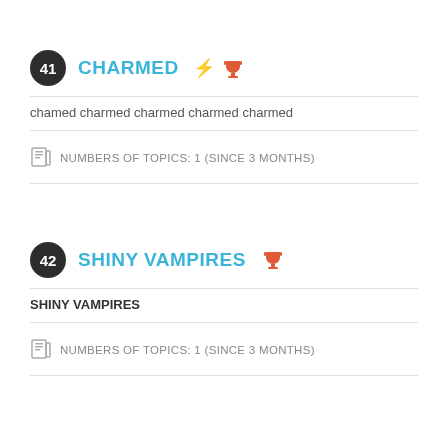41 CHARMED
chamed charmed charmed charmed charmed
NUMBERS OF TOPICS: 1 (SINCE 3 MONTHS)
42 SHINY VAMPIRES
SHINY VAMPIRES
NUMBERS OF TOPICS: 1 (SINCE 3 MONTHS)